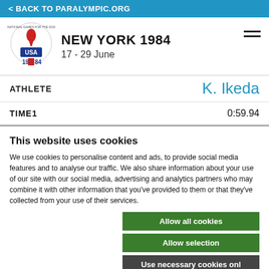< BACK TO PARALYMPIC.ORG
NEW YORK 1984
17 - 29 June
ATHLETE   K. Ikeda
TIME1   0:59.94
This website uses cookies
We use cookies to personalise content and ads, to provide social media features and to analyse our traffic. We also share information about your use of our site with our social media, advertising and analytics partners who may combine it with other information that you've provided to them or that they've collected from your use of their services.
Allow all cookies
Allow selection
Use necessary cookies only
Necessary   Preferences   Statistics   Show details   Marketing